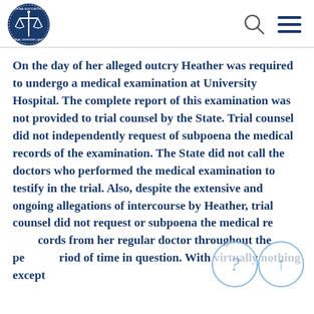National Association of Criminal Defense Lawyers logo, search icon, menu icon
On the day of her alleged outcry Heather was required to undergo a medical examination at University Hospital. The complete report of this examination was not provided to trial counsel by the State. Trial counsel did not independently request of subpoena the medical records of the examination. The State did not call the doctors who performed the medical examination to testify in the trial. Also, despite the extensive and ongoing allegations of intercourse by Heather, trial counsel did not request or subpoena the medical records from her regular doctor throughout the period of time in question. With virtually nothing except